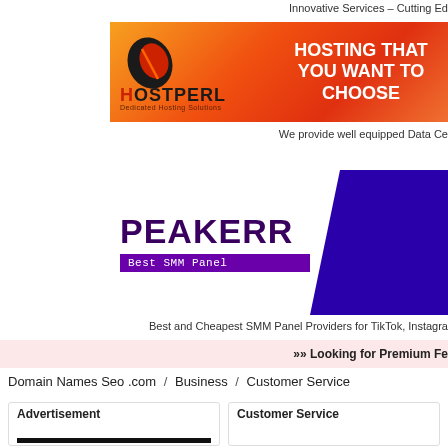Innovative Services – Cutting Ed
[Figure (illustration): HostPerl Dedicated Hosting Solutions banner with orange/red gradient background. Logo with stylized H and OSTPERL text. Tagline: HOSTING THAT YOU WANT TO CHOOSE]
We provide well equipped Data Ce
[Figure (illustration): PEAKERR Best SMM Panel banner with white background, dark purple title PEAKERR, purple badge Best SMM Panel, and dark blue/purple geometric shape on right]
Best and Cheapest SMM Panel Providers for TikTok, Instagra
»» Looking for Premium Fe
Domain Names Seo .com / Business / Customer Service
| Advertisement | Customer Service |
| --- | --- |